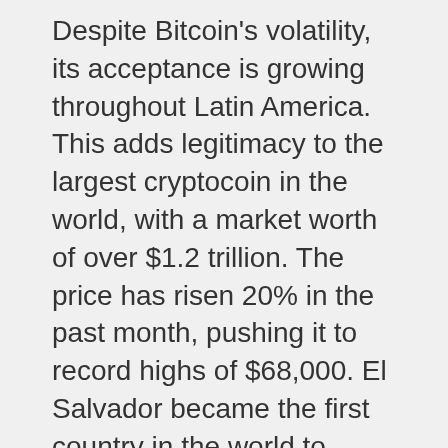Despite Bitcoin's volatility, its acceptance is growing throughout Latin America. This adds legitimacy to the largest cryptocoin in the world, with a market worth of over $1.2 trillion. The price has risen 20% in the past month, pushing it to record highs of $68,000. El Salvador became the first country in the world to legalize Bitcoin in September, sparking interest from other countries and companies.
It is not clear if La Haus is actually the first proptech to accept Bitcoin. Sanchez-Rios stated that the technology will make it easier to buy a home in emerging markets. It will reduce the amount of paperwork